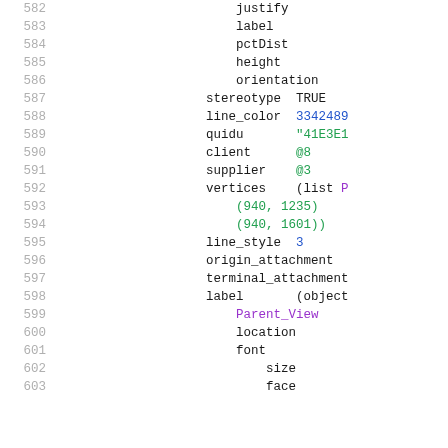Code listing lines 582–603, showing structured data properties: justify, label, pctDist, height, orientation, stereotype TRUE, line_color 3342489, quidu "41E3E1", client @8, supplier @3, vertices (list P, (940, 1235), (940, 1601)), line_style 3, origin_attachment, terminal_attachment, label (object, Parent_View, location, font, size, face